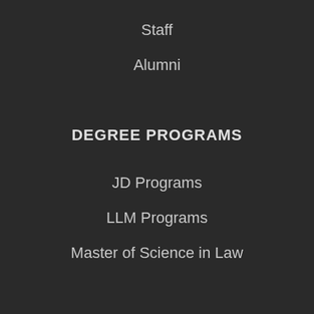Staff
Alumni
DEGREE PROGRAMS
JD Programs
LLM Programs
Master of Science in Law
RESOURCES
News
Calendar